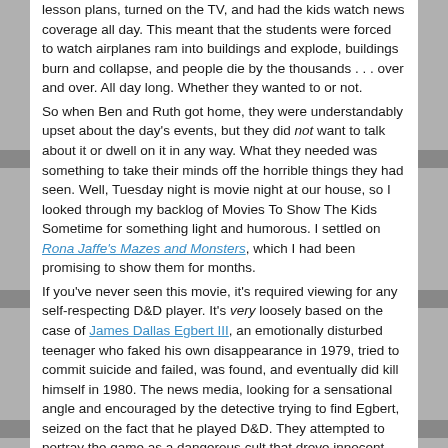lesson plans, turned on the TV, and had the kids watch news coverage all day. This meant that the students were forced to watch airplanes ram into buildings and explode, buildings burn and collapse, and people die by the thousands . . . over and over. All day long. Whether they wanted to or not.
So when Ben and Ruth got home, they were understandably upset about the day's events, but they did not want to talk about it or dwell on it in any way. What they needed was something to take their minds off the horrible things they had seen. Well, Tuesday night is movie night at our house, so I looked through my backlog of Movies To Show The Kids Sometime for something light and humorous. I settled on Rona Jaffe's Mazes and Monsters, which I had been promising to show them for months.
If you've never seen this movie, it's required viewing for any self-respecting D&D player. It's very loosely based on the case of James Dallas Egbert III, an emotionally disturbed teenager who faked his own disappearance in 1979, tried to commit suicide and failed, was found, and eventually did kill himself in 1980. The news media, looking for a sensational angle and encouraged by the detective trying to find Egbert, seized on the fact that he played D&D. They attempted to portray the game as a dangerous cult that drove innocent teenagers insane, and blamed it for Egbert's disappearance. Rona Jaffe wrote a novel called Mazes & Monsters